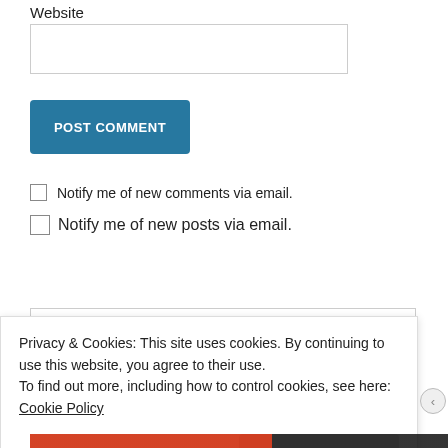Website
[Figure (screenshot): Website text input field (empty)]
[Figure (screenshot): POST COMMENT button in blue]
Notify me of new comments via email.
Notify me of new posts via email.
[Figure (screenshot): Search input box with placeholder text 'Search']
Privacy & Cookies: This site uses cookies. By continuing to use this website, you agree to their use.
To find out more, including how to control cookies, see here: Cookie Policy
Close and accept